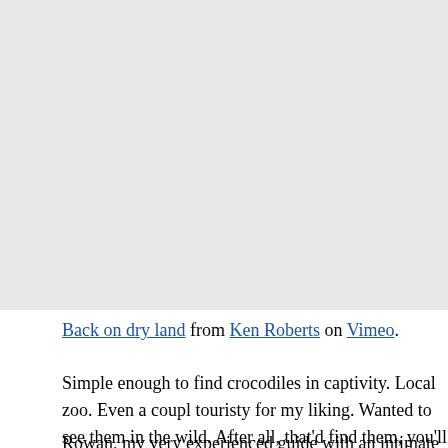[Figure (other): Embedded video placeholder area (Vimeo video embed, 'Back on dry land' by Ken Roberts)]
Back on dry land from Ken Roberts on Vimeo.
Simple enough to find crocodiles in captivity. Local zoo. Even a couple of croc farms but too touristy for my liking. Wanted to see them in the wild. After all, that'd be the best way to find them, you'll learn how to avoid them. It's a theory.
Rowan, my very experienced guide with an intimate knowledge of the